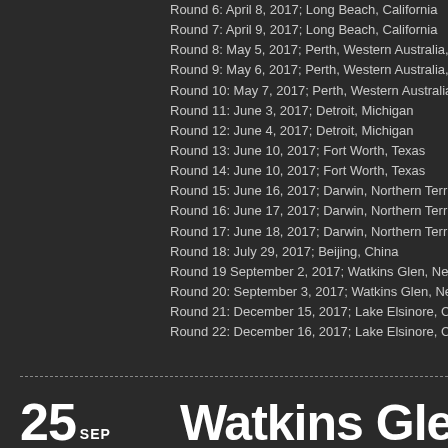Round 6: April 8, 2017; Long Beach, California
Round 7: April 9, 2017; Long Beach, California
Round 8: May 5, 2017; Perth, Western Australia, A
Round 9: May 6, 2017; Perth, Western Australia, A
Round 10: May 7, 2017; Perth, Western Australia,
Round 11: June 3, 2017; Detroit, Michigan
Round 12: June 4, 2017; Detroit, Michigan
Round 13: June 10, 2017; Fort Worth, Texas
Round 14: June 10, 2017; Fort Worth, Texas
Round 15: June 16, 2017; Darwin, Northern Territo
Round 16: June 17, 2017; Darwin, Northern Territo
Round 17: June 18, 2017; Darwin, Northern Territo
Round 18: July 29, 2017; Beijing, China
Round 19 September 2, 2017; Watkins Glen, New
Round 20: September 3, 2017; Watkins Glen, New
Round 21: December 15, 2017; Lake Elsinore, Cal
Round 22: December 16, 2017; Lake Elsinore, Cal
25 SEP
Watkins Glen Br